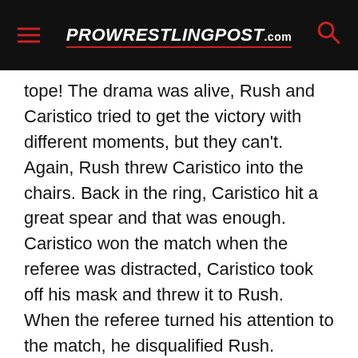ProWrestlingPost.com
tope! The drama was alive, Rush and Caristico tried to get the victory with different moments, but they can't. Again, Rush threw Caristico into the chairs. Back in the ring, Caristico hit a great spear and that was enough. Caristico won the match when the referee was distracted, Caristico took off his mask and threw it to Rush. When the referee turned his attention to the match, he disqualified Rush.